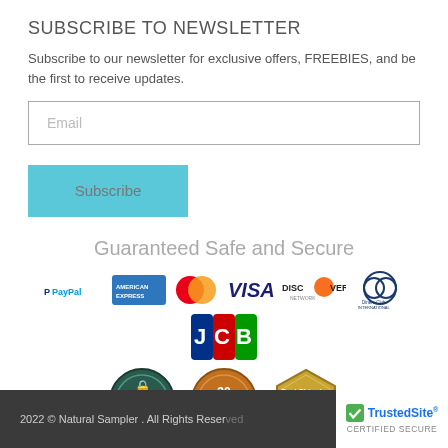SUBSCRIBE TO NEWSLETTER
Subscribe to our newsletter for exclusive offers, FREEBIES, and be the first to receive updates.
[Figure (other): Email input field with placeholder text 'Email']
[Figure (other): Subscribe button in teal/cyan color]
Guaranteed Safe and Secure
[Figure (other): Payment method logos: PayPal, American Express, MasterCard, VISA, Discover Network, Diners Club International]
[Figure (logo): JCB payment logo]
[Figure (other): Three trust badges: Secure, 30 Days, Fast Shipping]
2022 © Natural Sampler . All Rights Reserved